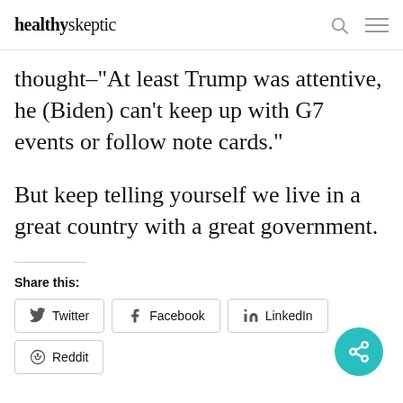healthyskeptic
thought–"At least Trump was attentive, he (Biden) can't keep up with G7 events or follow note cards."
But keep telling yourself we live in a great country with a great government.
Share this:
[Figure (other): Social share buttons: Twitter, Facebook, LinkedIn, Reddit]
[Figure (other): Floating teal share button with share icon]